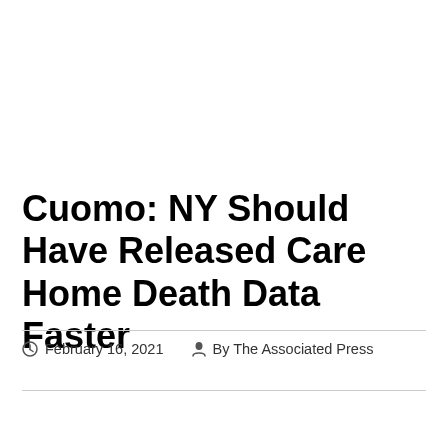Cuomo: NY Should Have Released Care Home Death Data Faster
February 16, 2021  By The Associated Press